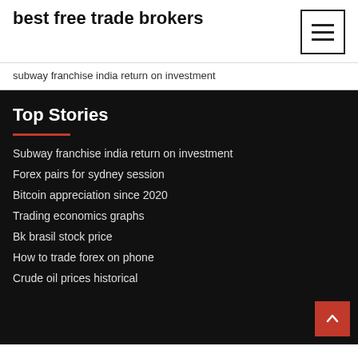best free trade brokers
subway franchise india return on investment
Top Stories
Subway franchise india return on investment
Forex pairs for sydney session
Bitcoin appreciation since 2020
Trading economics graphs
Bk brasil stock price
How to trade forex on phone
Crude oil prices historical